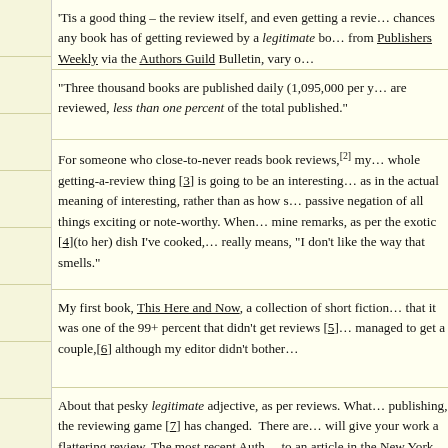'Tis a good thing – the review itself, and even getting a review. The chances any book has of getting reviewed by a legitimate book reviewer, from Publishers Weekly via the Authors Guild Bulletin, vary of
"Three thousand books are published daily (1,095,000 per year). Few are reviewed, less than one percent of the total published."
For someone who close-to-never reads book reviews,[2] my whole getting-a-review thing [3] is going to be an interesting – as in the actual meaning of interesting, rather than as how s passive negation of all things exciting or note-worthy. When mine remarks, as per the exotic [4](to her) dish I've cooked, really means, "I don't like the way that smells."
My first book, This Here and Now, a collection of short fiction that it was one of the 99+ percent that didn't get reviews [5] managed to get a couple,[6] although my editor didn't bother
About that pesky legitimate adjective, as per reviews. What publishing, the reviewing game [7] has changed. There are will give your work a flattering review. The most recent Auth to an article in the New York Times, "The Best Reviews Mon on one such service: